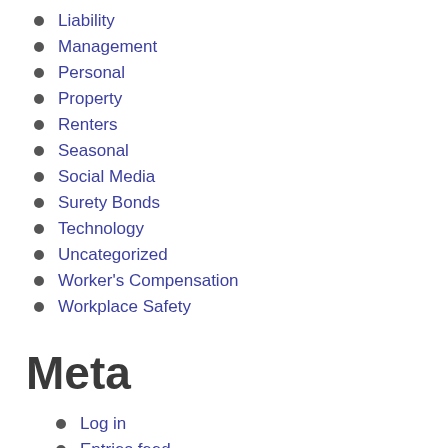Liability
Management
Personal
Property
Renters
Seasonal
Social Media
Surety Bonds
Technology
Uncategorized
Worker's Compensation
Workplace Safety
Meta
Log in
Entries feed